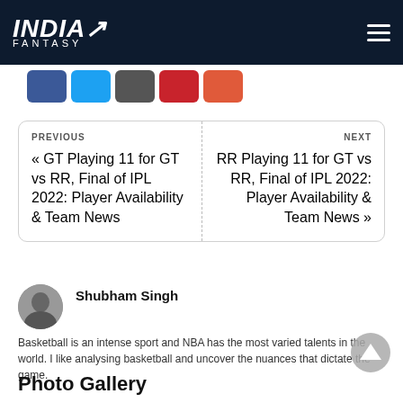INDIA FANTASY
[Figure (other): Social media share buttons row: Facebook, Twitter, WhatsApp, Pinterest, Email]
PREVIOUS
« GT Playing 11 for GT vs RR, Final of IPL 2022: Player Availability & Team News
NEXT
RR Playing 11 for GT vs RR, Final of IPL 2022: Player Availability & Team News »
Shubham Singh
Basketball is an intense sport and NBA has the most varied talents in the world. I like analysing basketball and uncover the nuances that dictate the game.
Photo Gallery